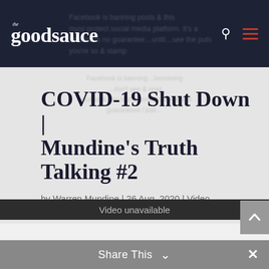the goodsauce
COVID-19 Shut Down | Mundine's Truth Talking #2
by Warren Mundine | 26 Aug, 2020 | Video
[Figure (screenshot): Embedded video player showing video unavailable message]
Share This ∨
Video unavailable